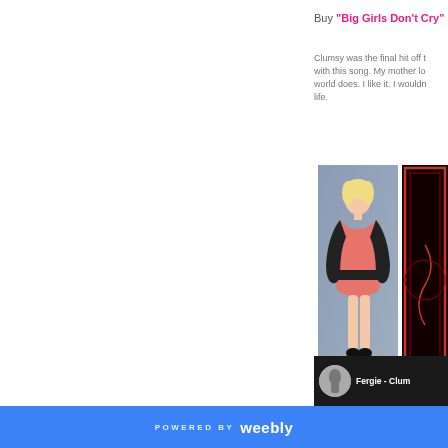Buy "Big Girls Don't Cry"
Clumsy was the final hit off t... with this song. My mother lo... world does. I like it. I wouldn... life.
[Figure (photo): Photo of a blonde woman in a pink/coral dress with black gloves posing against a grey background]
[Figure (photo): Album cover with dark red border on black background]
[Figure (photo): Music player bar showing Fergie - Clumsy with circular album art icon]
POWERED BY weebly